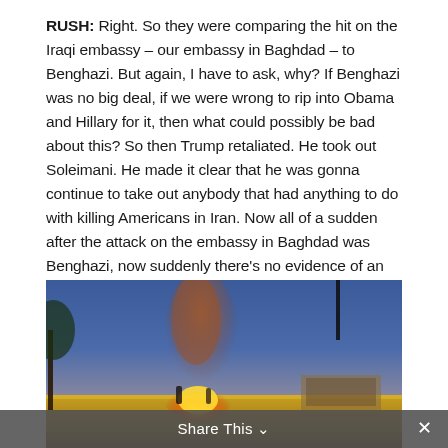RUSH: Right. So they were comparing the hit on the Iraqi embassy – our embassy in Baghdad – to Benghazi. But again, I have to ask, why? If Benghazi was no big deal, if we were wrong to rip into Obama and Hillary for it, then what could possibly be bad about this? So then Trump retaliated. He took out Soleimani. He made it clear that he was gonna continue to take out anybody that had anything to do with killing Americans in Iran. Now all of a sudden after the attack on the embassy in Baghdad was Benghazi, now suddenly there's no evidence of an imminent threat. There was no reason for Trump to take any action.
[Figure (photo): Nighttime photo of what appears to be a building or compound on fire with orange flames and smoke rising, against a blue dusk/night sky. Palm tree visible on the left edge.]
Share This ∨